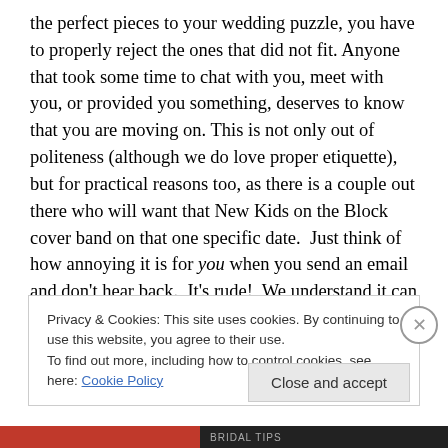the perfect pieces to your wedding puzzle, you have to properly reject the ones that did not fit. Anyone that took some time to chat with you, meet with you, or provided you something, deserves to know that you are moving on. This is not only out of politeness (although we do love proper etiquette), but for practical reasons too, as there is a couple out there who will want that New Kids on the Block cover band on that one specific date.  Just think of how annoying it is for you when you send an email and don't hear back.  It's rude!  We understand it can be awkward, but how many times did you have to deal with
Privacy & Cookies: This site uses cookies. By continuing to use this website, you agree to their use.
To find out more, including how to control cookies, see here: Cookie Policy
Close and accept